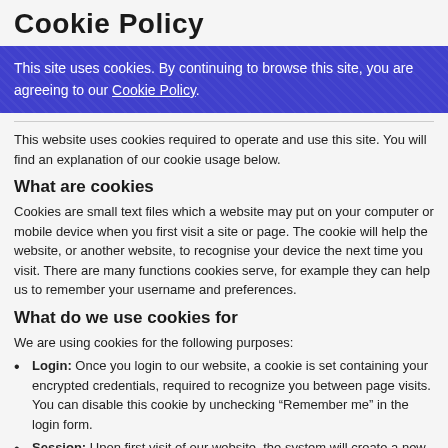Cookie Policy
This site uses cookies. By continuing to browse this site, you are agreeing to our Cookie Policy.
This website uses cookies required to operate and use this site. You will find an explanation of our cookie usage below.
What are cookies
Cookies are small text files which a website may put on your computer or mobile device when you first visit a site or page. The cookie will help the website, or another website, to recognise your device the next time you visit. There are many functions cookies serve, for example they can help us to remember your username and preferences.
What do we use cookies for
We are using cookies for the following purposes:
Login: Once you login to our website, a cookie is set containing your encrypted credentials, required to recognize you between page visits. You can disable this cookie by unchecking “Remember me” in the login form.
Session: Upon first visit of our website, the system will create a new unique session for you which will be saved using a cookie on your